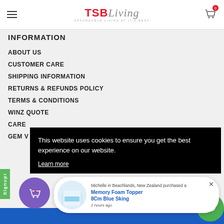TSB Living — AFFORDABLE LIVING AT ITS BEST
INFORMATION
ABOUT US
CUSTOMER CARE
SHIPPING INFORMATION
RETURNS & REFUNDS POLICY
TERMS & CONDITIONS
WINZ QUOTE
CAREERS
GEM VISA
This website uses cookies to ensure you get the best experience on our website.
Learn more
Michelle in Beachlands, New Zealand purchased a Memory Foam Topper 8Cm Blue Sking 2 hours ago